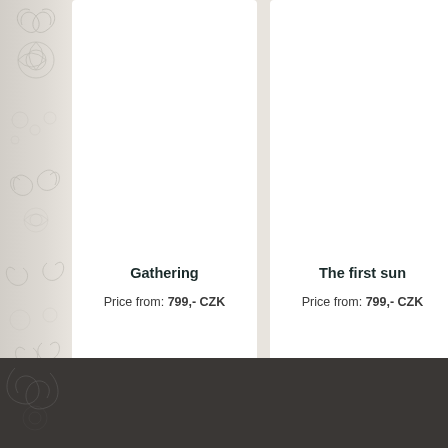Gathering
Price from: 799,- CZK
The first sun
Price from: 799,- CZK